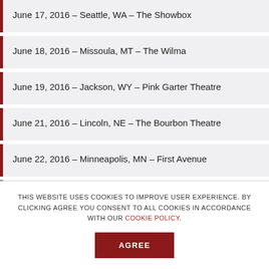June 17, 2016 – Seattle, WA – The Showbox
June 18, 2016 – Missoula, MT – The Wilma
June 19, 2016 – Jackson, WY – Pink Garter Theatre
June 21, 2016 – Lincoln, NE – The Bourbon Theatre
June 22, 2016 – Minneapolis, MN – First Avenue
June 24, 2016 – Chicago, IL – Park West
June 25, 2016 – Detroit, MI – St. Andrews Hall
THIS WEBSITE USES COOKIES TO IMPROVE USER EXPERIENCE. BY CLICKING AGREE YOU CONSENT TO ALL COOKIES IN ACCORDANCE WITH OUR COOKIE POLICY.